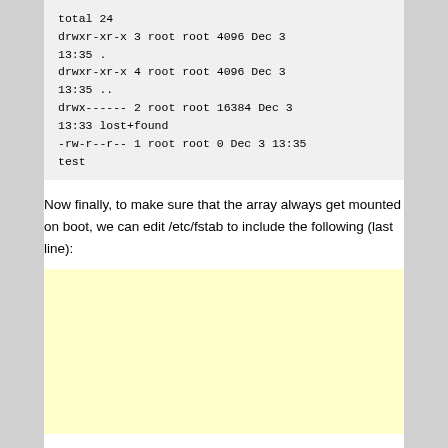total 24
drwxr-xr-x 3 root root 4096 Dec 3 13:35 .
drwxr-xr-x 4 root root 4096 Dec 3 13:35 ..
drwx------ 2 root root 16384 Dec 3 13:33 lost+found
-rw-r--r-- 1 root root 0 Dec 3 13:35 test
Now finally, to make sure that the array always get mounted on boot, we can edit /etc/fstab to include the following (last line):
[Figure (other): Yellow highlighted code/text block (content not visible)]